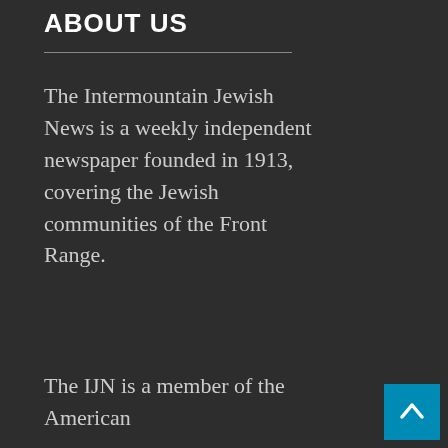ABOUT US
The Intermountain Jewish News is a weekly independent newspaper founded in 1913, covering the Jewish communities of the Front Range.
The IJN is a member of the American